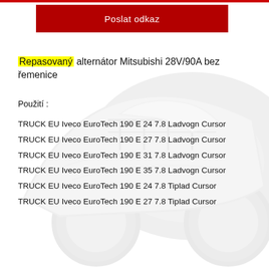Poslat odkaz
Repasovaný alternátor Mitsubishi 28V/90A bez řemenice
Použití :
TRUCK EU Iveco EuroTech 190 E 24 7.8 Ladvogn Cursor
TRUCK EU Iveco EuroTech 190 E 27 7.8 Ladvogn Cursor
TRUCK EU Iveco EuroTech 190 E 31 7.8 Ladvogn Cursor
TRUCK EU Iveco EuroTech 190 E 35 7.8 Ladvogn Cursor
TRUCK EU Iveco EuroTech 190 E 24 7.8 Tiplad Cursor
TRUCK EU Iveco EuroTech 190 E 27 7.8 Tiplad Cursor